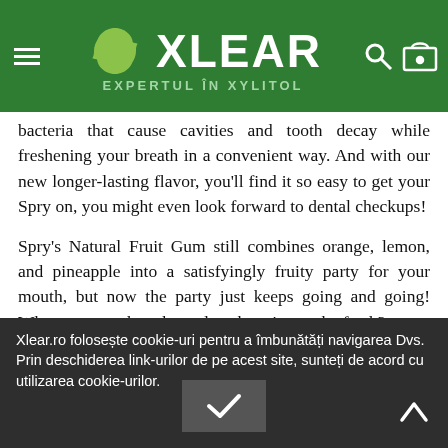[Figure (logo): Xlear logo with green leaf icon and text 'XLEAR EXPERTUL ÎN XYLITOL' on dark green header background with hamburger menu, search and cart icons]
...bacteria that cause cavities and tooth decay while freshening your breath in a convenient way. And with our new longer-lasting flavor, you'll find it so easy to get your Spry on, you might even look forward to dental checkups!
Spry's Natural Fruit Gum still combines orange, lemon, and pineapple into a satisfyingly fruity party for your mouth, but now the party just keeps going and going! Who says your breath needs to be minty to be fresh?
Xlear.ro folosește cookie-uri pentru a îmbunătăți navigarea Dvs. Prin deschiderea link-urilor de pe acest site, sunteți de acord cu utilizarea cookie-urilor.
Xylitol, Gum Base, Natural Fruit Flavors, Malic Acid, Calcium Carbonate, Gum Arabic, Vegetable Glycerin, Sunflower Lecithin, Carnauba Wax